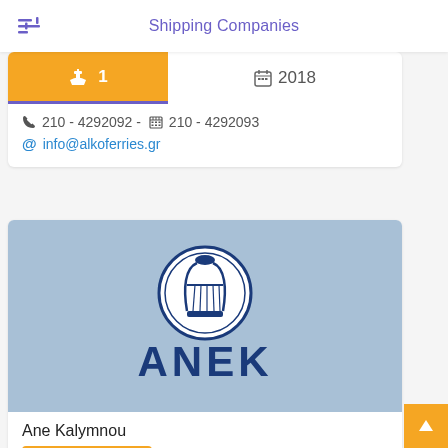Shipping Companies
🚢 1   📅 2018
📞 210 - 4292092 - 📠 210 - 4292093
@ info@alkoferries.gr
[Figure (logo): ANEK Lines logo — a lyre inside a circle above the bold text ANEK in dark blue, on a steel-blue background]
Ane Kalymnou